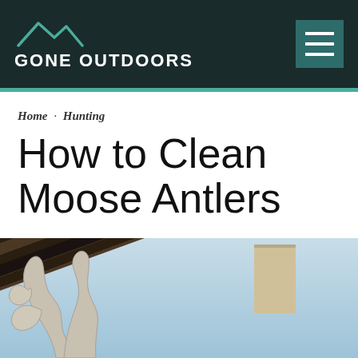GONE OUTDOORS
Home · Hunting
How to Clean Moose Antlers
[Figure (photo): Photo of moose antlers mounted on the exterior of a log cabin with dark shingle roof, against a clear blue sky with a chimney visible in the background.]